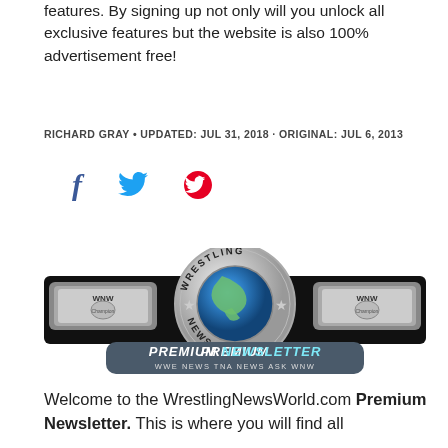features. By signing up not only will you unlock all exclusive features but the website is also 100% advertisement free!
RICHARD GRAY • UPDATED: JUL 31, 2018 · ORIGINAL: JUL 6, 2013
[Figure (infographic): Social media share icons: Facebook (f), Twitter (bird), Pinterest (P)]
[Figure (logo): Wrestling News World Premium Newsletter championship belt logo with WNW Champion side plates, globe center, stars, and subtitle WWE NEWS TNA NEWS ASK WNW]
Welcome to the WrestlingNewsWorld.com Premium Newsletter. This is where you will find all